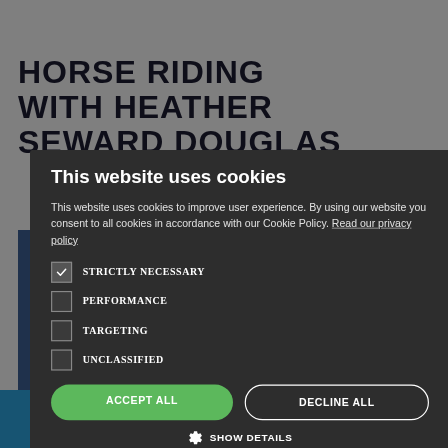HORSE RIDING WITH HEATHER SEWARD DOUGLAS
[Figure (screenshot): Website screenshot with cookie consent modal overlay. Background shows a horse riding website with dark blue title text. A dark overlay covers the background. A dark gray cookie consent modal is displayed prominently with title, description, checkboxes for cookie categories, and accept/decline buttons.]
This website uses cookies
This website uses cookies to improve user experience. By using our website you consent to all cookies in accordance with our Cookie Policy. Read our privacy policy
STRICTLY NECESSARY
PERFORMANCE
TARGETING
UNCLASSIFIED
ACCEPT ALL
DECLINE ALL
SHOW DETAILS
POWERED BY COOKIESCRIPT